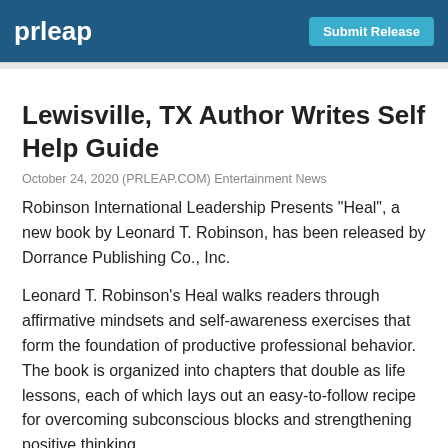prleap  Submit Release
Lewisville, TX Author Writes Self Help Guide
October 24, 2020 (PRLEAP.COM) Entertainment News
Robinson International Leadership Presents "Heal", a new book by Leonard T. Robinson, has been released by Dorrance Publishing Co., Inc.
Leonard T. Robinson's Heal walks readers through affirmative mindsets and self-awareness exercises that form the foundation of productive professional behavior. The book is organized into chapters that double as life lessons, each of which lays out an easy-to-follow recipe for overcoming subconscious blocks and strengthening positive thinking.